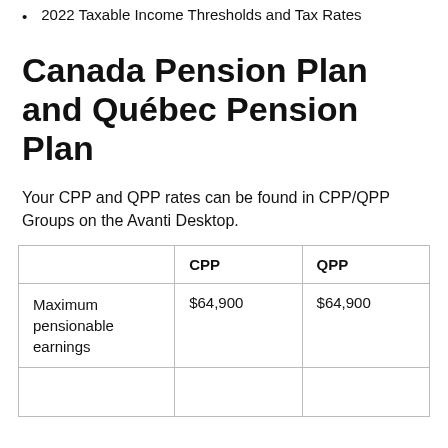2022 Taxable Income Thresholds and Tax Rates
Canada Pension Plan and Québec Pension Plan
Your CPP and QPP rates can be found in CPP/QPP Groups on the Avanti Desktop.
|  | CPP | QPP |
| --- | --- | --- |
| Maximum pensionable earnings | $64,900 | $64,900 |